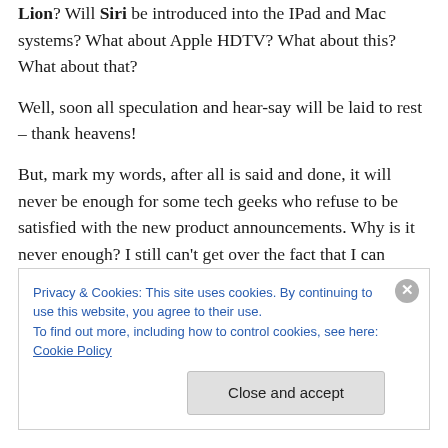Lion? Will Siri be introduced into the IPad and Mac systems? What about Apple HDTV? What about this? What about that?
Well, soon all speculation and hear-say will be laid to rest – thank heavens!
But, mark my words, after all is said and done, it will never be enough for some tech geeks who refuse to be satisfied with the new product announcements. Why is it never enough? I still can't get over the fact that I can AirPlay my
Privacy & Cookies: This site uses cookies. By continuing to use this website, you agree to their use.
To find out more, including how to control cookies, see here: Cookie Policy
Close and accept